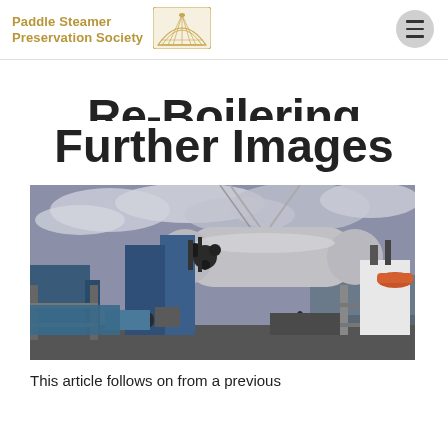Paddle Steamer Preservation Society
Re-Boilering Further Images
[Figure (photo): Photograph of a large boiler being craned onto a paddle steamer at a dock, with scaffolding and workers visible on deck and another vessel moored alongside. Overcast sky in the background.]
This article follows on from a previous